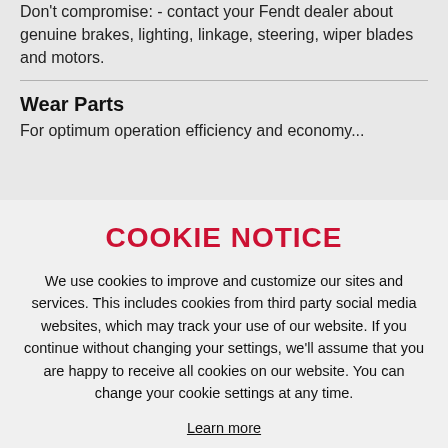Don't compromise: - contact your Fendt dealer about genuine brakes, lighting, linkage, steering, wiper blades and motors.
Wear Parts
For optimum operation efficiency and economy...
COOKIE NOTICE
We use cookies to improve and customize our sites and services. This includes cookies from third party social media websites, which may track your use of our website. If you continue without changing your settings, we'll assume that you are happy to receive all cookies on our website. You can change your cookie settings at any time.
Learn more
GOT IT